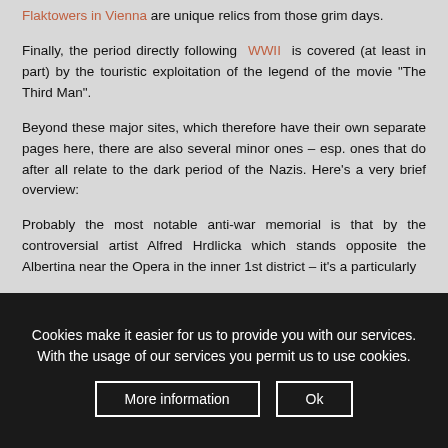Flaktowers in Vienna are unique relics from those grim days.
Finally, the period directly following WWII is covered (at least in part) by the touristic exploitation of the legend of the movie "The Third Man".
Beyond these major sites, which therefore have their own separate pages here, there are also several minor ones – esp. ones that do after all relate to the dark period of the Nazis. Here's a very brief overview:
Probably the most notable anti-war memorial is that by the controversial artist Alfred Hrdlicka which stands opposite the Albertina near the Opera in the inner 1st district – it's a particularly
Cookies make it easier for us to provide you with our services. With the usage of our services you permit us to use cookies.